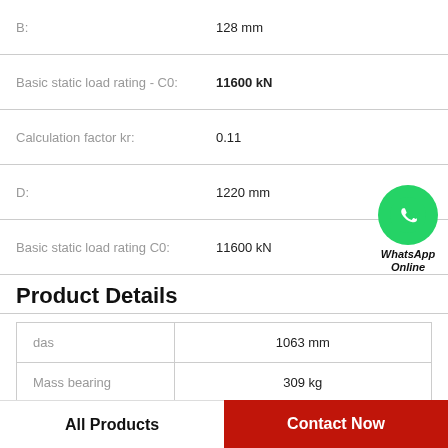B: 128 mm
Basic static load rating - C0: 11600 kN
Calculation factor kr: 0.11
D: 1220 mm
Basic static load rating C0: 11600 kN
Product Details
|  |  |
| --- | --- |
| das | 1063 mm |
| Mass bearing | 309 kg |
| Calculation factor - kr | 0.11 |
[Figure (logo): WhatsApp Online green circle logo with phone icon and label WhatsApp Online]
All Products    Contact Now